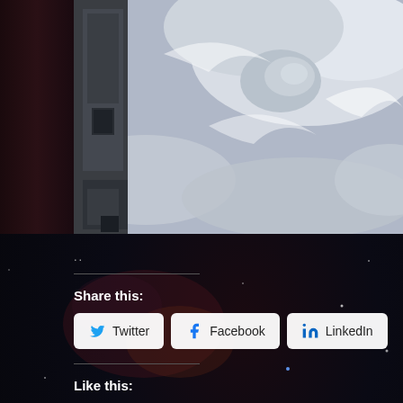[Figure (photo): Aerial/satellite view of a hurricane or tropical storm as seen from the International Space Station, showing cloud swirls and the storm eye, with spacecraft structure visible on the left side]
..
Share this:
Twitter  Facebook  LinkedIn
Like this:
Loading...